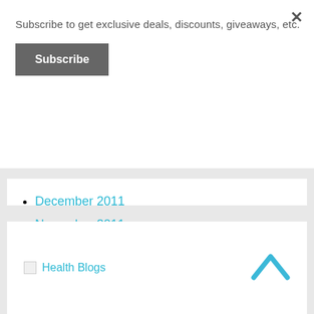Subscribe to get exclusive deals, discounts, giveaways, etc.
Subscribe
December 2011
November 2011
October 2011
September 2011
[Figure (other): Health Blogs image/icon with link text]
[Figure (other): Chevron up arrow icon in cyan/teal color]